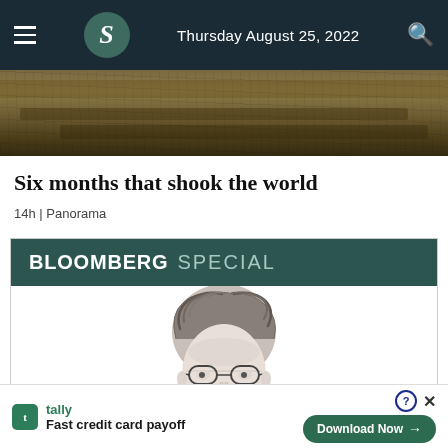Thursday August 25, 2022
[Figure (photo): Aerial or landscape photograph showing dry, brown terrain or field]
Six months that shook the world
14h | Panorama
[Figure (illustration): Bloomberg Special advertisement banner featuring a pencil sketch portrait of a man with curly hair and round glasses wearing a face mask, with 'BLOOMBERG SPECIAL' header text on dark teal background]
tally Fast credit card payoff Download Now →